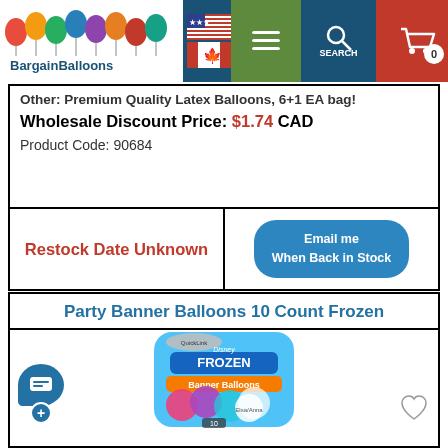BargainBalloons navigation header with logo, flags, menu, search, and cart
Other: Premium Quality Latex Balloons, 6+1 EA bag!
Wholesale Discount Price: $1.74 CAD
Product Code: 90684
Restock Date Unknown
Email me When Back in Stock
Party Banner Balloons 10 Count Frozen
[Figure (photo): Disney Frozen Banner Balloons 10 count product package bag showing Elsa and Anna characters with colorful printed balloons]